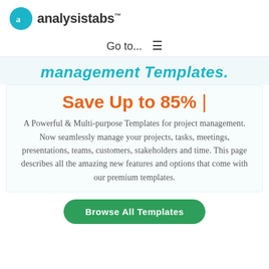analysistabs™
Go to...  ☰
management Templates.
Save Up to 85% |
A Powerful & Multi-purpose Templates for project management. Now seamlessly manage your projects, tasks, meetings, presentations, teams, customers, stakeholders and time. This page describes all the amazing new features and options that come with our premium templates.
Browse All Templates